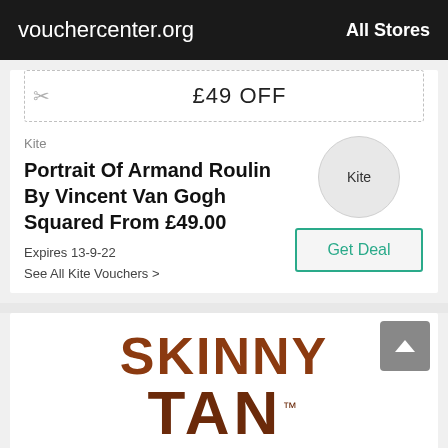vouchercenter.org   All Stores
£49 OFF
Kite
Portrait Of Armand Roulin By Vincent Van Gogh Squared From £49.00
Expires 13-9-22
See All Kite Vouchers >
Kite
Get Deal
[Figure (logo): Skinny Tan brand logo in dark brown/rust color on white background]